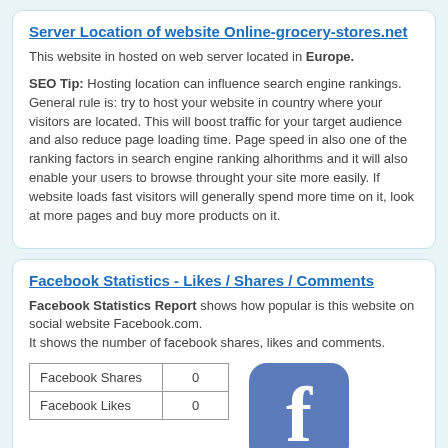Server Location of website Online-grocery-stores.net
This website in hosted on web server located in Europe.
SEO Tip: Hosting location can influence search engine rankings. General rule is: try to host your website in country where your visitors are located. This will boost traffic for your target audience and also reduce page loading time. Page speed in also one of the ranking factors in search engine ranking alhorithms and it will also enable your users to browse throught your site more easily. If website loads fast visitors will generally spend more time on it, look at more pages and buy more products on it.
Facebook Statistics - Likes / Shares / Comments
Facebook Statistics Report shows how popular is this website on social website Facebook.com.
It shows the number of facebook shares, likes and comments.
|  |  |
| --- | --- |
| Facebook Shares | 0 |
| Facebook Likes | 0 |
[Figure (logo): Facebook logo icon - blue rounded square with white 'f' letter]